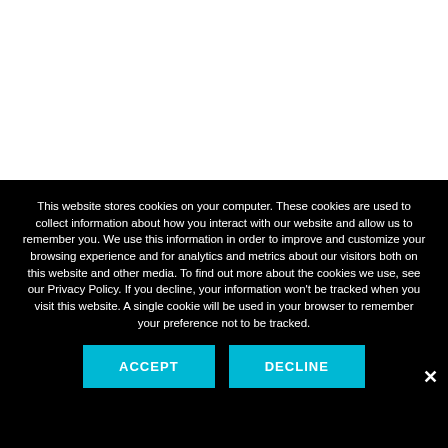This website stores cookies on your computer. These cookies are used to collect information about how you interact with our website and allow us to remember you. We use this information in order to improve and customize your browsing experience and for analytics and metrics about our visitors both on this website and other media. To find out more about the cookies we use, see our Privacy Policy. If you decline, your information won't be tracked when you visit this website. A single cookie will be used in your browser to remember your preference not to be tracked.